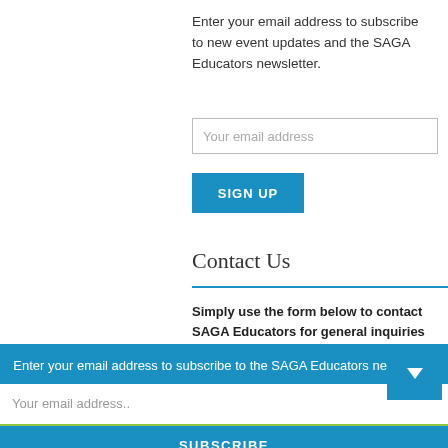Enter your email address to subscribe to new event updates and the SAGA Educators newsletter.
Your email address
SIGN UP
Contact Us
Simply use the form below to contact SAGA Educators for general inquiries or to make a request for professional
Enter your email address to subscribe to the SAGA Educators newsletter.
Your email address..
SUBSCRIBE